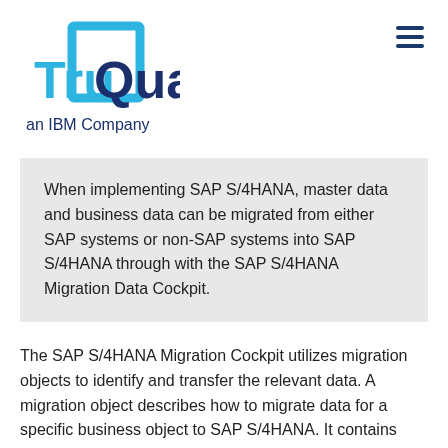[Figure (logo): TruQua logo with cyan bracket design and dark blue text, with 'an IBM Company' tagline below]
When implementing SAP S/4HANA, master data and business data can be migrated from either SAP systems or non-SAP systems into SAP S/4HANA through with the SAP S/4HANA Migration Data Cockpit.
The SAP S/4HANA Migration Cockpit utilizes migration objects to identify and transfer the relevant data. A migration object describes how to migrate data for a specific business object to SAP S/4HANA. It contains information about the columns to map and to convert.